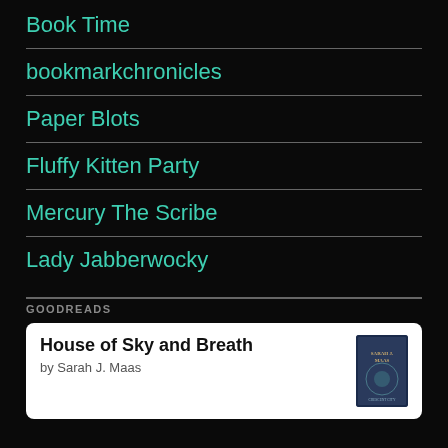Book Time
bookmarkchronicles
Paper Blots
Fluffy Kitten Party
Mercury The Scribe
Lady Jabberwocky
GOODREADS
House of Sky and Breath by Sarah J. Maas